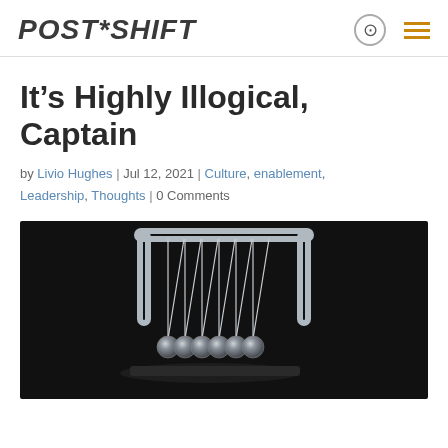POST*SHIFT
It’s Highly Illogical, Captain
by Livio Hughes | Jul 12, 2021 | Culture, enablement, Leadership, Thoughts | 0 Comments
[Figure (photo): Newton's cradle (metal balls on strings in a frame) against a dark background]